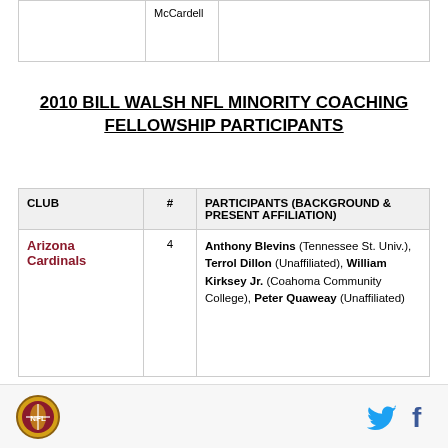|  |  | McCardell |
| --- | --- | --- |
|  |  |  |
2010 BILL WALSH NFL MINORITY COACHING FELLOWSHIP PARTICIPANTS
| CLUB | # | PARTICIPANTS (BACKGROUND & PRESENT AFFILIATION) |
| --- | --- | --- |
| Arizona Cardinals | 4 | Anthony Blevins (Tennessee St. Univ.), Terrol Dillon (Unaffiliated), William Kirksey Jr. (Coahoma Community College), Peter Quaweay (Unaffiliated) |
NFL logo | Twitter | Facebook